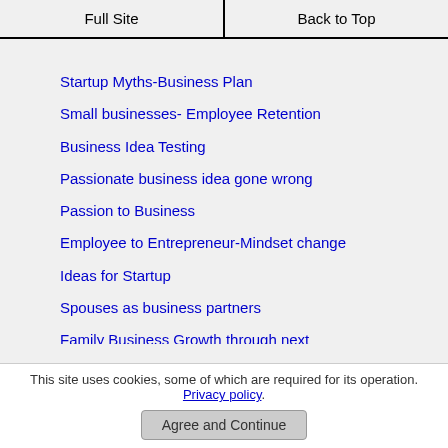Full Site | Back to Top
Startup Myths-Business Plan
Small businesses- Employee Retention
Business Idea Testing
Passionate business idea gone wrong
Passion to Business
Employee to Entrepreneur-Mindset change
Ideas for Startup
Spouses as business partners
Family Business Growth through next generation
Family Business- Supply Chain Synergy
This site uses cookies, some of which are required for its operation. Privacy policy.
Agree and Continue